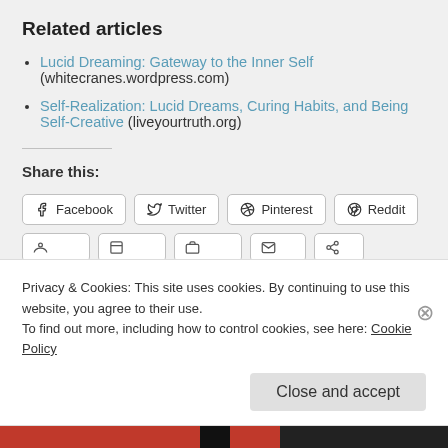Related articles
Lucid Dreaming: Gateway to the Inner Self (whitecranes.wordpress.com)
Self-Realization: Lucid Dreams, Curing Habits, and Being Self-Creative (liveyourtruth.org)
Share this:
Facebook  Twitter  Pinterest  Reddit
Privacy & Cookies: This site uses cookies. By continuing to use this website, you agree to their use.
To find out more, including how to control cookies, see here: Cookie Policy
Close and accept